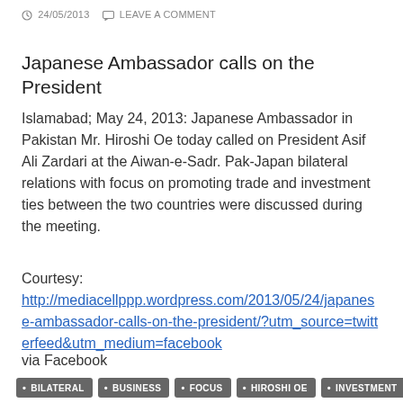24/05/2013  LEAVE A COMMENT
Japanese Ambassador calls on the President
Islamabad; May 24, 2013: Japanese Ambassador in Pakistan Mr. Hiroshi Oe today called on President Asif Ali Zardari at the Aiwan-e-Sadr. Pak-Japan bilateral relations with focus on promoting trade and investment ties between the two countries were discussed during the meeting.
Courtesy:
http://mediacellppp.wordpress.com/2013/05/24/japanese-ambassador-calls-on-the-president/?utm_source=twitterfeed&utm_medium=facebook
via Facebook
BILATERAL
BUSINESS
FOCUS
HIROSHI OE
INVESTMENT